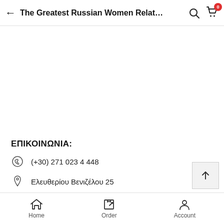The Greatest Russian Women Relat...
ΕΠΙΚΟΙΝΩΝΙΑ:
(+30) 271 023 4448
Ελευθερίου Βενιζέλου 25
Τρίπολη
Home  Order  Account